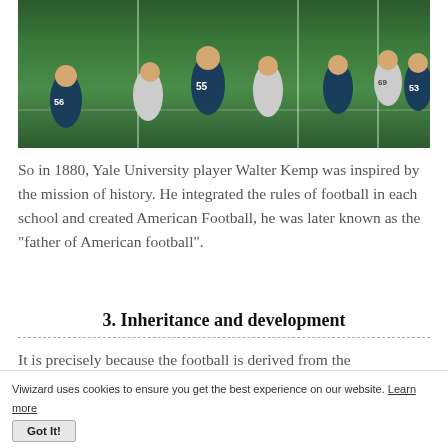[Figure (photo): American football game action photo showing players from two teams (dark teal/green jerseys and white jerseys) mid-play on a green field]
So in 1880, Yale University player Walter Kemp was inspired by the mission of history. He integrated the rules of football in each school and created American Football, he was later known as the "father of American football".
3. Inheritance and development
It is precisely because the football is derived from the
Viwizard uses cookies to ensure you get the best experience on our website. Learn more Got It!